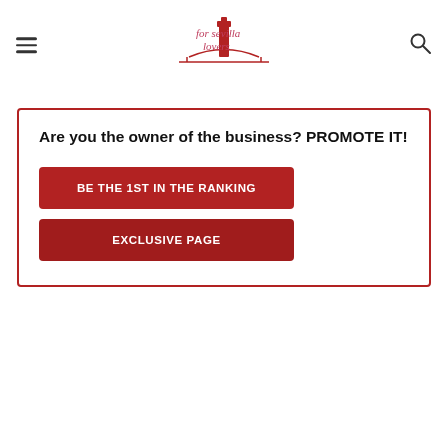[Figure (logo): For Sevilla Lovers logo with stylized text and bridge/tower illustration in red/pink]
Are you the owner of the business? PROMOTE IT!
BE THE 1ST IN THE RANKING
EXCLUSIVE PAGE